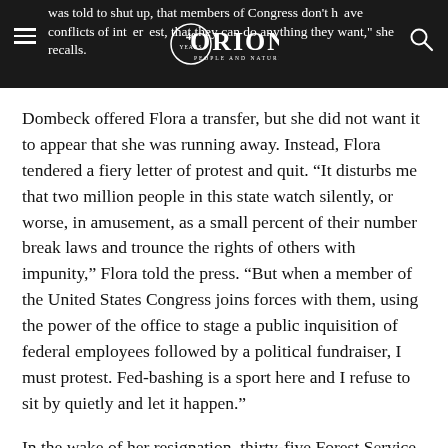was told to shut up, that members of Congress don't have conflicts of interest, that they can do anything they want," she recalls.
Dombeck offered Flora a transfer, but she did not want it to appear that she was running away. Instead, Flora tendered a fiery letter of protest and quit. “It disturbs me that two million people in this state watch silently, or worse, in amusement, as a small percent of their number break laws and trounce the rights of others with impunity,” Flora told the press. “But when a member of the United States Congress joins forces with them, using the power of the office to stage a public inquisition of federal employees followed by a political fundraiser, I must protest. Fed-bashing is a sport here and I refuse to sit by quietly and let it happen.”
In the wake of her resignation, thirty-five Forest Service employees at Humboldt-Toiyabe sent a letter...